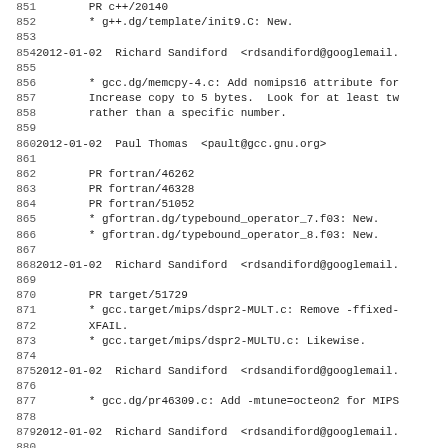851        PR c++/20140
852        * g++.dg/template/init9.C: New.
853
854 2012-01-02  Richard Sandiford  <rdsandiford@googlemail.
855
856        * gcc.dg/memcpy-4.c: Add nomips16 attribute for
857        Increase copy to 5 bytes.  Look for at least tw
858        rather than a specific number.
859
860 2012-01-02  Paul Thomas  <pault@gcc.gnu.org>
861
862        PR fortran/46262
863        PR fortran/46328
864        PR fortran/51052
865        * gfortran.dg/typebound_operator_7.f03: New.
866        * gfortran.dg/typebound_operator_8.f03: New.
867
868 2012-01-02  Richard Sandiford  <rdsandiford@googlemail.
869
870        PR target/51729
871        * gcc.target/mips/dspr2-MULT.c: Remove -ffixed-
872        XFAIL.
873        * gcc.target/mips/dspr2-MULTU.c: Likewise.
874
875 2012-01-02  Richard Sandiford  <rdsandiford@googlemail.
876
877        * gcc.dg/pr46309.c: Add -mtune=octeon2 for MIPS
878
879 2012-01-02  Richard Sandiford  <rdsandiford@googlemail.
880
881        * g++.dg/cpp0x/constexpr-rom.C: Look for .rdata
882        for MIPS.